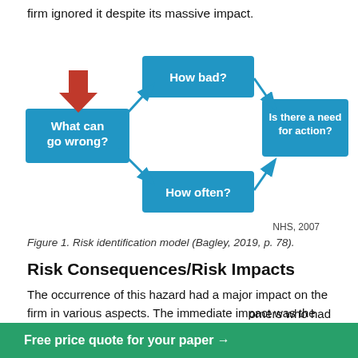firm ignored it despite its massive impact.
[Figure (flowchart): Risk identification model flowchart showing four connected boxes: 'What can go wrong?' (left, with red downward arrow), 'How bad?' (top center), 'How often?' (bottom center), 'Is there a need for action?' (right). Arrows connect them in a diamond/cycle pattern. Source: NHS, 2007.]
Figure 1. Risk identification model (Bagley, 2019, p. 78).
Risk Consequences/Risk Impacts
The occurrence of this hazard had a major impact on the firm in various aspects. The immediate impact was the loss of revenue as the firm was forced to order all its global dealers to stop the sale of the product (Zhou and Lianqian, 2020). Next was the compensation that the firm
Free price quote for your paper →
omers who had